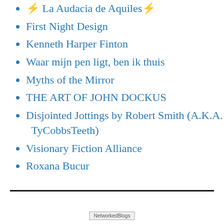⚡ La Audacia de Aquiles ⚡
First Night Design
Kenneth Harper Finton
Waar mijn pen ligt, ben ik thuis
Myths of the Mirror
THE ART OF JOHN DOCKUS
Disjointed Jottings by Robert Smith (A.K.A. TyCobbsTeeth)
Visionary Fiction Alliance
Roxana Bucur
NetworkedBlogs